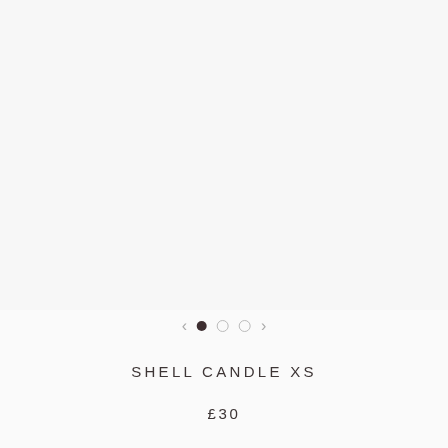[Figure (photo): Product image area — blank/white space where a shell candle XS photo would appear, with carousel navigation dots and arrows below]
SHELL CANDLE XS
£30